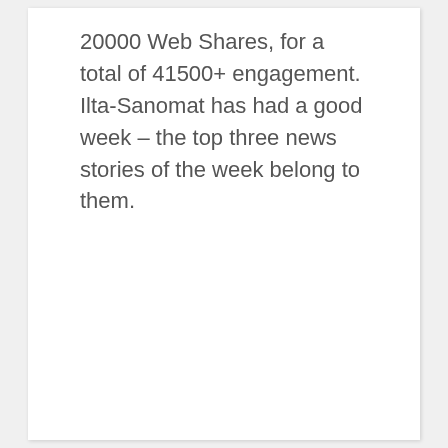20000 Web Shares, for a total of 41500+ engagement. Ilta-Sanomat has had a good week – the top three news stories of the week belong to them.